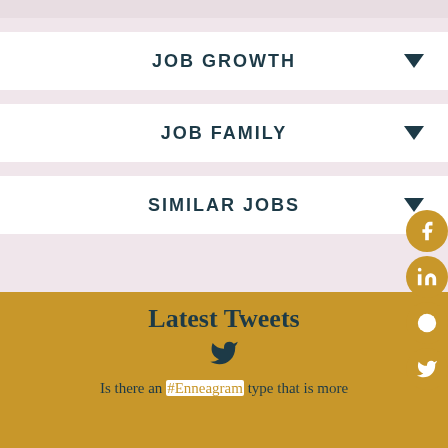JOB GROWTH
JOB FAMILY
SIMILAR JOBS
Latest Tweets
Is there an #Enneagram type that is more compatible with the intuition system?